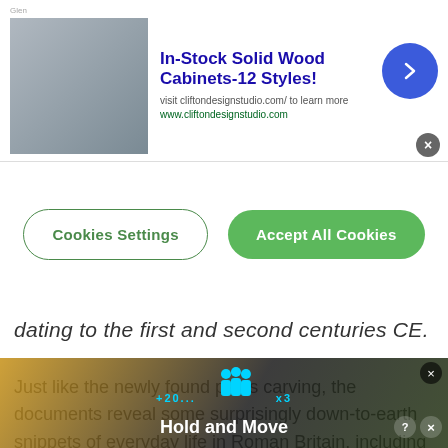[Figure (screenshot): Advertisement banner for In-Stock Solid Wood Cabinets showing furniture image, ad title, description, URL, and navigation arrow button with close X]
[Figure (screenshot): Cookie consent overlay with 'Cookies Settings' outlined button and 'Accept All Cookies' green button]
dating to the first and second centuries CE.
Just like the newly found penis carving, the documents reveal some surprisingly down-to-earth snippets of everyday life in Roman Britain, including an invitation to a birthday party. Who knows, perhaps this was the night where Secundinus the shitter fell out with his graffiti-happy friend.
[Figure (screenshot): Bottom advertisement for 'Hold and Move' app/game with dark background showing people icons and close/help buttons]